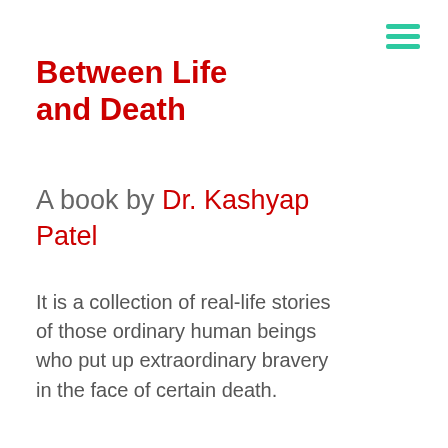Between Life and Death
A book by Dr. Kashyap Patel
It is a collection of real-life stories of those ordinary human beings who put up extraordinary bravery in the face of certain death.
Read more